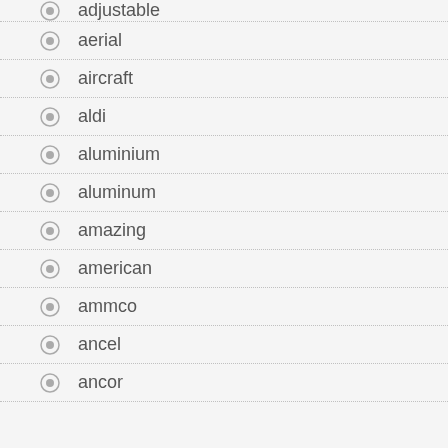adjustable
aerial
aircraft
aldi
aluminium
aluminum
amazing
american
ammco
ancel
ancor